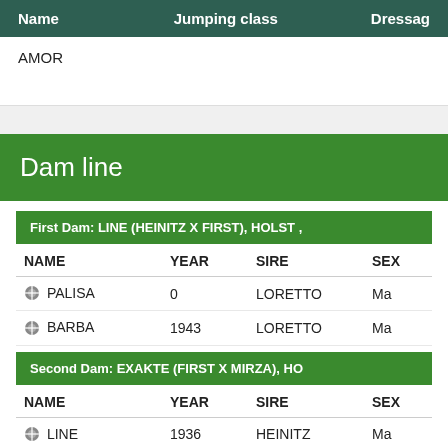| Name | Jumping class | Dressage |
| --- | --- | --- |
| AMOR |  |  |
Dam line
First Dam: LINE (HEINITZ X FIRST), HOLST ,
| NAME | YEAR | SIRE | SEX |
| --- | --- | --- | --- |
| PALISA | 0 | LORETTO | Ma |
| BARBA | 1943 | LORETTO | Ma |
Second Dam: EXAKTE (FIRST X MIRZA), HO
| NAME | YEAR | SIRE | SEX |
| --- | --- | --- | --- |
| LINE | 1936 | HEINITZ | Ma |
| HEISSA | 1937 | HEINITZ | Sta |